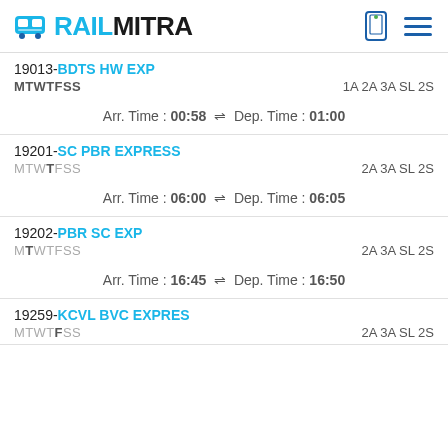RAILMITRA
19013-BDTS HW EXP
MTWTFSS  1A 2A 3A SL 2S
Arr. Time : 00:58 ⇌ Dep. Time : 01:00
19201-SC PBR EXPRESS
MTWTFSS  2A 3A SL 2S
Arr. Time : 06:00 ⇌ Dep. Time : 06:05
19202-PBR SC EXP
MTWTFSS  2A 3A SL 2S
Arr. Time : 16:45 ⇌ Dep. Time : 16:50
19259-KCVL BVC EXPRES
MTWTFSS  2A 3A SL 2S